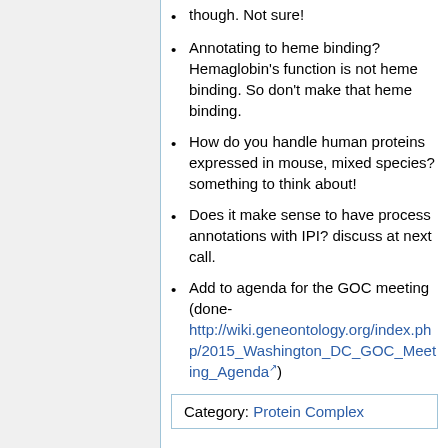though. Not sure!
Annotating to heme binding? Hemaglobin's function is not heme binding. So don't make that heme binding.
How do you handle human proteins expressed in mouse, mixed species? something to think about!
Does it make sense to have process annotations with IPI? discuss at next call.
Add to agenda for the GOC meeting (done- http://wiki.geneontology.org/index.php/2015_Washington_DC_GOC_Meeting_Agenda )
Category: Protein Complex